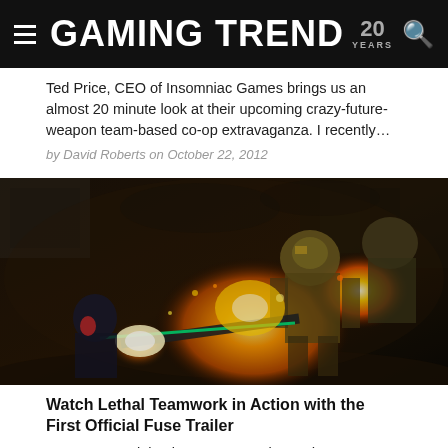GAMING TREND 20 YEARS
Ted Price, CEO of Insomniac Games brings us an almost 20 minute look at their upcoming crazy-future-weapon team-based co-op extravaganza. I recently…
by David Roberts on October 22, 2012
[Figure (photo): Screenshot from a video game showing armored characters fighting in a fiery, explosive environment]
Watch Lethal Teamwork in Action with the First Official Fuse Trailer
Due to some rights issues, Insomniac and EA weren't able to show off the trailer for their new four player co-op mayhem…
by David Roberts on September 13, 2012